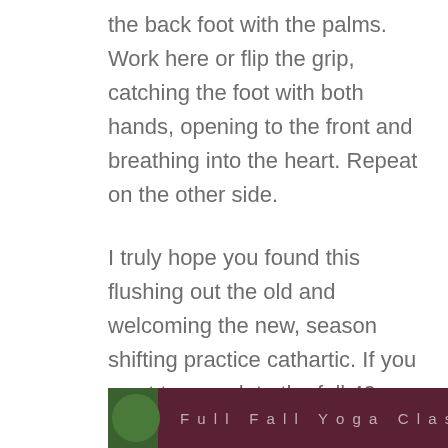the back foot with the palms. Work here or flip the grip, catching the foot with both hands, opening to the front and breathing into the heart. Repeat on the other side.
I truly hope you found this flushing out the old and welcoming the new, season shifting practice cathartic. If you want to complete the full 40 minute class with me, click through to the video below.
[Figure (photo): Video thumbnail strip showing yoga practice, partially visible at bottom of page with dark maroon background and faint text]